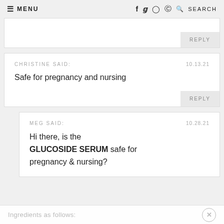≡ MENU   f  t  ⊙  ⊗  🔍 SEARCH
REPLY
CHRISTINE SAID:
10.13.21
Safe for pregnancy and nursing
REPLY
MEG SAID:
10.28.21
Hi there, is the GLUCOSIDE SERUM safe for pregnancy & nursing?
Ingredients as follows: